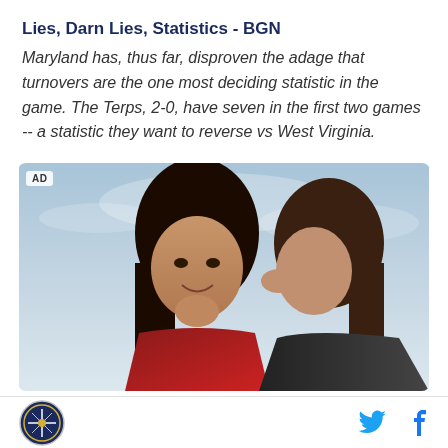Lies, Darn Lies, Statistics - BGN
Maryland has, thus far, disproven the adage that turnovers are the one most deciding statistic in the game. The Terps, 2-0, have seven in the first two games -- a statistic they want to reverse vs West Virginia.
[Figure (photo): Advertisement photo showing two women, one whispering to the other, wearing red and black outfits against a sky background. AD label in top-left corner.]
Site logo with social media icons for Twitter and Facebook